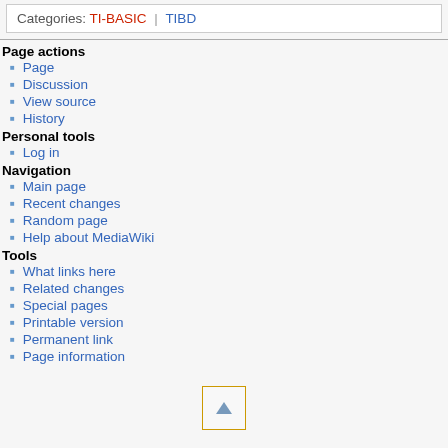Categories: TI-BASIC | TIBD
Page actions
Page
Discussion
View source
History
Personal tools
Log in
Navigation
Main page
Recent changes
Random page
Help about MediaWiki
Tools
What links here
Related changes
Special pages
Printable version
Permanent link
Page information